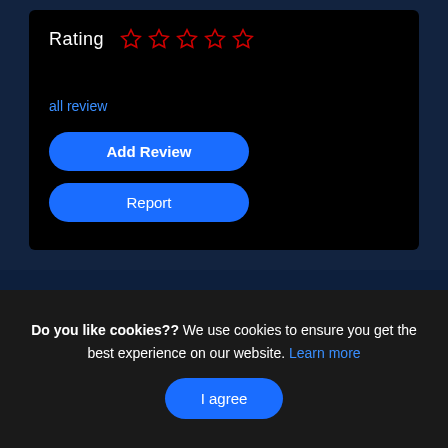Rating ☆ ☆ ☆ ☆ ☆
all review
Add Review
Report
The images above are conceptual artist renderings of proposed improvements.
Do you like cookies?? We use cookies to ensure you get the best experience on our website. Learn more
I agree